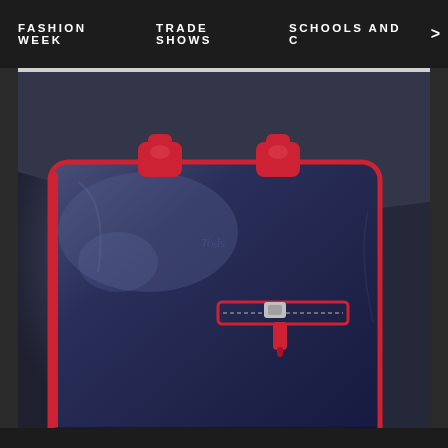FASHION WEEK   TRADE SHOWS   SCHOOLS AND C   >
[Figure (photo): Close-up photo of a navy blue leather briefcase/handbag with red accent handles and zipper details, held by a person wearing dark navy trousers. The bag is rectangular with smooth polished leather and two red leather handle tabs at the top, plus a red zipper pocket on the front.]